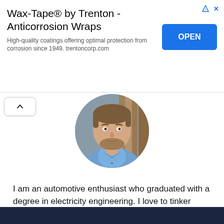[Figure (infographic): Advertisement banner for Wax-Tape® by Trenton - Anticorrosion Wraps with title, description, and OPEN button]
Wax-Tape® by Trenton - Anticorrosion Wraps
High-quality coatings offering optimal protection from corrosion since 1949. trentoncorp.com
[Figure (photo): Circular profile photo of a man with a beard wearing a blue shirt, photographed against a grey and wooden background]
I am an automotive enthusiast who graduated with a degree in electricity engineering. I love to tinker around with cars and come up with ways to make them better!